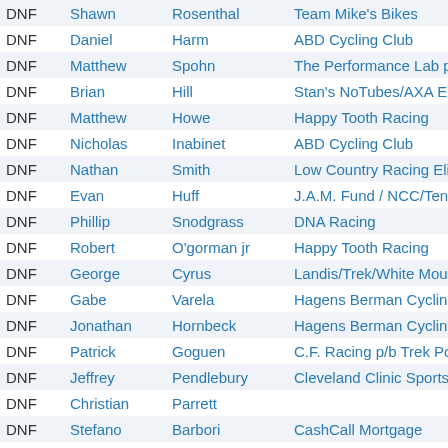| Status | First Name | Last Name | Team |
| --- | --- | --- | --- |
| DNF | Shawn | Rosenthal | Team Mike's Bikes |
| DNF | Daniel | Harm | ABD Cycling Club |
| DNF | Matthew | Spohn | The Performance Lab p/b Caffeinated |
| DNF | Brian | Hill | Stan's NoTubes/AXA Equitable |
| DNF | Matthew | Howe | Happy Tooth Racing |
| DNF | Nicholas | Inabinet | ABD Cycling Club |
| DNF | Nathan | Smith | Low Country Racing Elite Team/Low C |
| DNF | Evan | Huff | J.A.M. Fund / NCC/Tenet Racing |
| DNF | Phillip | Snodgrass | DNA Racing |
| DNF | Robert | O'gorman jr | Happy Tooth Racing |
| DNF | George | Cyrus | Landis/Trek/White Mountain Road Clu |
| DNF | Gabe | Varela | Hagens Berman Cycling/Lake Wash |
| DNF | Jonathan | Hornbeck | Hagens Berman Cycling/Lake Washin |
| DNF | Patrick | Goguen | C.F. Racing p/b Trek Portsmouth |
| DNF | Jeffrey | Pendlebury | Cleveland Clinic Sports Health - RG |
| DNF | Christian | Parrett |  |
| DNF | Stefano | Barbori | CashCall Mortgage |